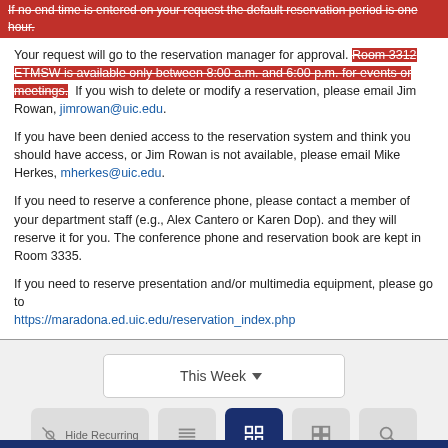If no end time is entered on your request the default reservation period is one hour.
Your request will go to the reservation manager for approval. Room 3312 ETMSW is available only between 8:00 a.m. and 6:00 p.m. for events or meetings. If you wish to delete or modify a reservation, please email Jim Rowan, jimrowan@uic.edu.
If you have been denied access to the reservation system and think you should have access, or Jim Rowan is not available, please email Mike Herkes, mherkes@uic.edu.
If you need to reserve a conference phone, please contact a member of your department staff (e.g., Alex Cantero or Karen Dop). and they will reserve it for you. The conference phone and reservation book are kept in Room 3335.
If you need to reserve presentation and/or multimedia equipment, please go to https://maradona.ed.uic.edu/reservation_index.php
[Figure (screenshot): A UI widget showing a 'This Week' dropdown selector and a row of buttons: Hide Recurring, list view, grid view (active/highlighted in navy blue), tile view, and search.]